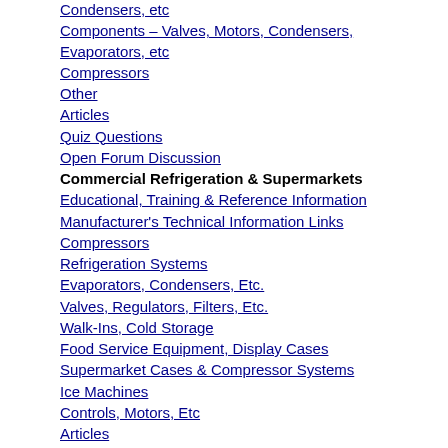Condensers, etc
Components – Valves, Motors, Condensers, Evaporators, etc
Compressors
Other
Articles
Quiz Questions
Open Forum Discussion
Commercial Refrigeration & Supermarkets
Educational, Training & Reference Information
Manufacturer's Technical Information Links
Compressors
Refrigeration Systems
Evaporators, Condensers, Etc.
Valves, Regulators, Filters, Etc.
Walk-Ins, Cold Storage
Food Service Equipment, Display Cases
Supermarket Cases & Compressor Systems
Ice Machines
Controls, Motors, Etc
Articles
Quiz Questions
Open Forum Discussion